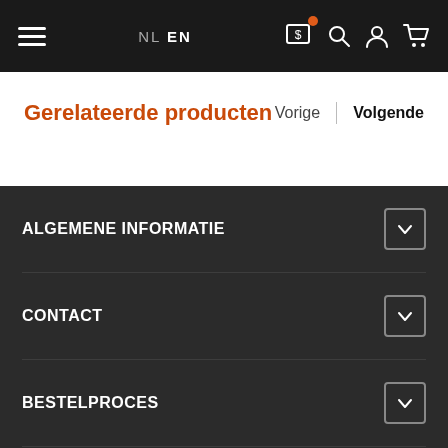NL EN — navigation bar with hamburger menu, currency, search, account, cart icons
Gerelateerde producten
Vorige | Volgende
ALGEMENE INFORMATIE
CONTACT
BESTELPROCES
KLANTENSERVICE